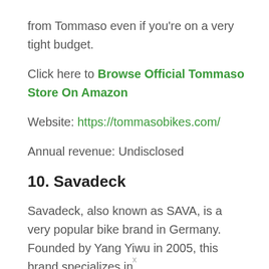from Tommaso even if you're on a very tight budget.
Click here to Browse Official Tommaso Store On Amazon
Website: https://tommasobikes.com/
Annual revenue: Undisclosed
10. Savadeck
Savadeck, also known as SAVA, is a very popular bike brand in Germany. Founded by Yang Yiwu in 2005, this brand specializes in